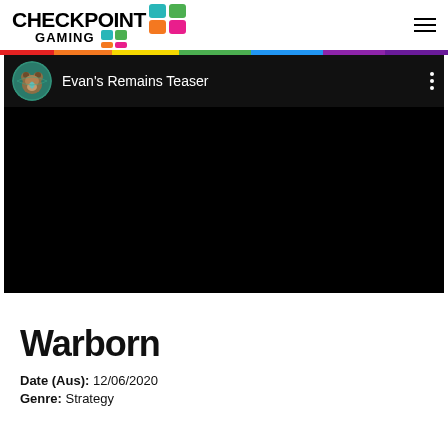CHECKPOINT GAMING
[Figure (screenshot): Embedded video player showing 'Evan's Remains Teaser' with a circular avatar thumbnail, video title text in white on dark background, and three-dot menu icon. The video content area is black.]
Warborn
Date (Aus): 12/06/2020
Genre: Strategy